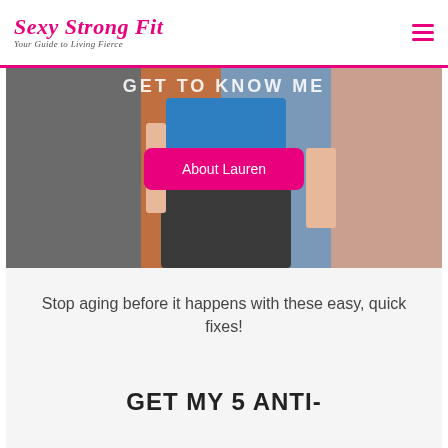Sexy Strong Fit — Your Guide to Living Fierce
[Figure (photo): A fitness woman in blue crop top and dark leggings with 'GET TO KNOW ME' text overlay and a pink 'About Lauren' button]
Stop aging before it happens with these easy, quick fixes!
GET MY 5 ANTI-